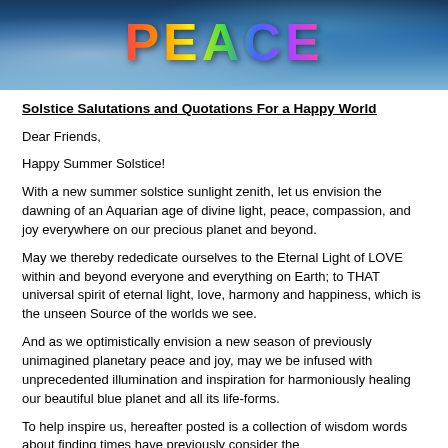[Figure (photo): Banner image with colorful rainbow 'PEACE' text over a blue ocean/wave background with icy/splashing water effect]
Solstice Salutations and Quotations For a Happy World
Dear Friends,
Happy Summer Solstice!
With a new summer solstice sunlight zenith, let us envision the dawning of an Aquarian age of divine light, peace, compassion, and joy everywhere on our precious planet and beyond.
May we thereby rededicate ourselves to the Eternal Light of LOVE within and beyond everyone and everything on Earth; to THAT universal spirit of eternal light, love, harmony and happiness, which is the unseen Source of the worlds we see.
And as we optimistically envision a new season of previously unimagined planetary peace and joy, may we be infused with unprecedented illumination and inspiration for harmoniously healing our beautiful blue planet and all its life-forms.
To help inspire us, hereafter posted is a collection of wisdom words about finding times have previously...